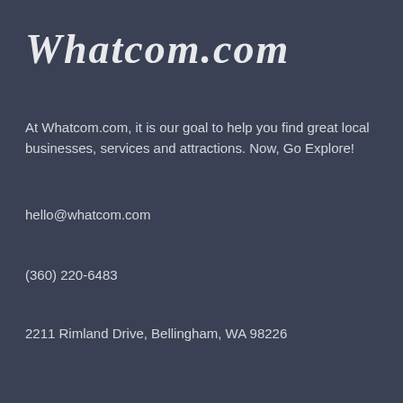Whatcom.com
At Whatcom.com, it is our goal to help you find great local businesses, services and attractions. Now, Go Explore!
hello@whatcom.com
(360) 220-6483
2211 Rimland Drive, Bellingham, WA 98226